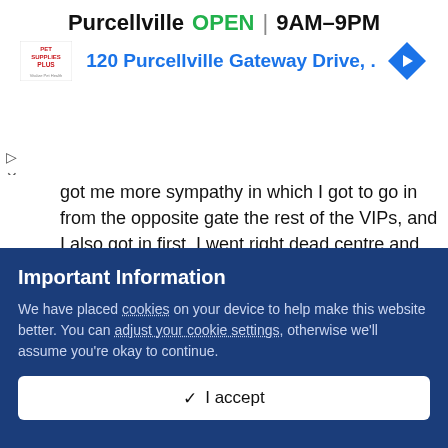[Figure (screenshot): Advertisement banner for Pet Supplies Plus store in Purcellville. Shows store name OPEN status 9AM-9PM, address 120 Purcellville Gateway Drive, Pet Supplies Plus logo, and a blue navigation arrow icon.]
got me more sympathy in which I got to go in from the opposite gate the rest of the VIPs, and I also got in first. I went right dead centre and right up to the stage and it was awesome!! I gotta say, I really enjoy getting special treatment when it comes to stuff like this! (And it's about time something good came out of this injury. It's been the bane of my existence for over a month).

Short but sweet setlist, you can see it on my Instagram (greysierra)
Important Information
We have placed cookies on your device to help make this website better. You can adjust your cookie settings, otherwise we'll assume you're okay to continue.
I accept